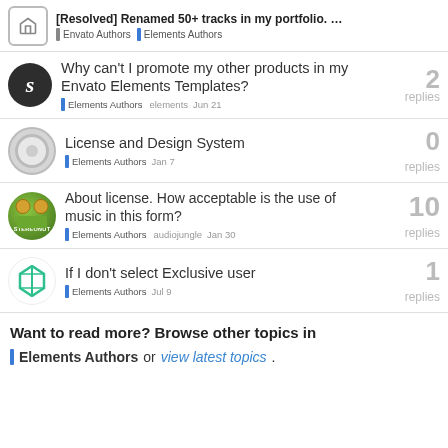[Resolved] Renamed 50+ tracks in my portfolio. ... — Envato Authors | Elements Authors
Why can't I promote my other products in my Envato Elements Templates?
Elements Authors  elements  Jun 21  2 replies
License and Design System
Elements Authors  Jan 7  0 replies
About license. How acceptable is the use of music in this form?
Elements Authors  audiojungle  Jan 30  10 replies
If I don't select Exclusive user
Elements Authors  Jul 9  1 replies
Want to read more? Browse other topics in Elements Authors or view latest topics.